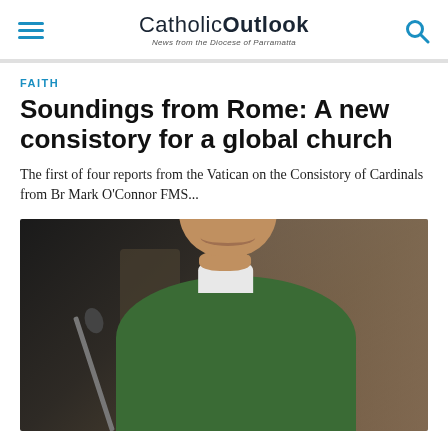CatholicOutlook — News from the Diocese of Parramatta
FAITH
Soundings from Rome: A new consistory for a global church
The first of four reports from the Vatican on the Consistory of Cardinals from Br Mark O'Connor FMS...
[Figure (photo): A smiling cardinal wearing a red biretta and green vestments, standing at a microphone podium]